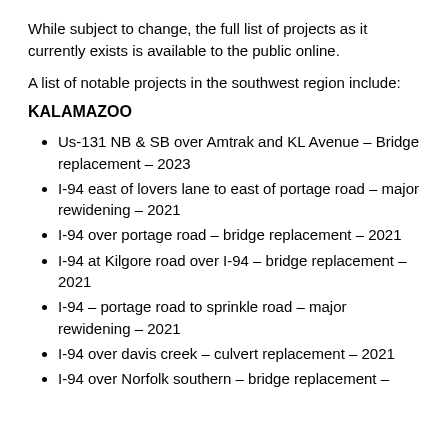While subject to change, the full list of projects as it currently exists is available to the public online.
A list of notable projects in the southwest region include:
KALAMAZOO
Us-131 NB & SB over Amtrak and KL Avenue – Bridge replacement – 2023
I-94 east of lovers lane to east of portage road – major rewidening – 2021
I-94 over portage road – bridge replacement – 2021
I-94 at Kilgore road over I-94 – bridge replacement – 2021
I-94 – portage road to sprinkle road – major rewidening – 2021
I-94 over davis creek – culvert replacement – 2021
I-94 over Norfolk southern – bridge replacement –